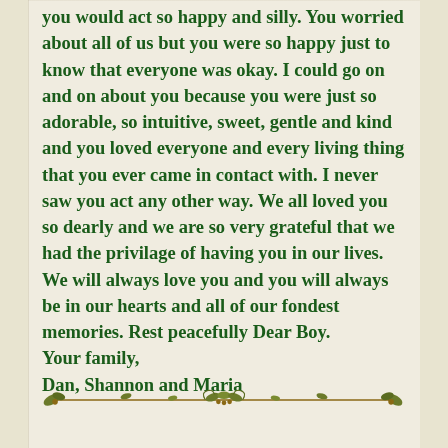you would act so happy and silly. You worried about all of us but you were so happy just to know that everyone was okay. I could go on and on about you because you were just so adorable, so intuitive, sweet, gentle and kind and you loved everyone and every living thing that you ever came in contact with. I never saw you act any other way. We all loved you so dearly and we are so very grateful that we had the privilage of having you in our lives. We will always love you and you will always be in our hearts and all of our fondest memories. Rest peacefully Dear Boy.
Your family,
Dan, Shannon and Maria
[Figure (illustration): Decorative horizontal divider with olive/gold leaf and vine motif on a thin brown line]